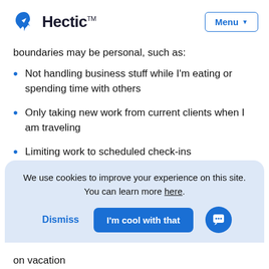Hectic™ | Menu
boundaries may be personal, such as:
Not handling business stuff while I'm eating or spending time with others
Only taking new work from current clients when I am traveling
Limiting work to scheduled check-ins
We use cookies to improve your experience on this site. You can learn more here.
on vacation